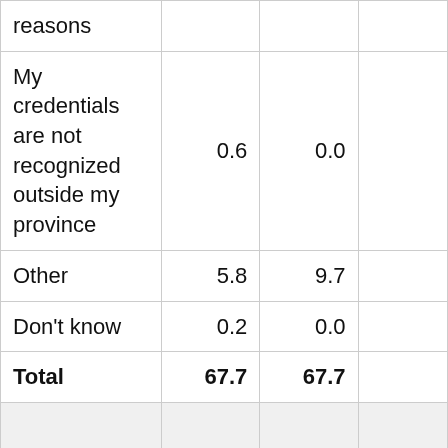|  |  |  |  |
| --- | --- | --- | --- |
| reasons |  |  |  |
| My credentials are not recognized outside my province | 0.6 | 0.0 |  |
| Other | 5.8 | 9.7 |  |
| Don't know | 0.2 | 0.0 |  |
| Total | 67.7 | 67.7 |  |
|  |  |  |  |